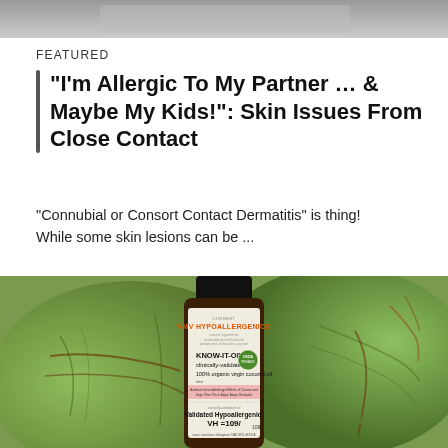[Figure (photo): Top portion of a photo, partially cropped, showing what appears to be a person or object against a light background]
FEATURED
"I'm Allergic To My Partner … & Maybe My Kids!": Skin Issues From Close Contact
"Connubial or Consort Contact Dermatitis" is thing! While some skin lesions can be ...
[Figure (photo): Photo of a VMV Hypoallergenics KNOW-IT-OIL bottle, a clinically-validated 100% organic virgin coconut oil product with USDA Organic seal, Validated Hypoallergenic VH=109/109, sans common allergens: NACDG+ESCA, shown resting against green coconuts]